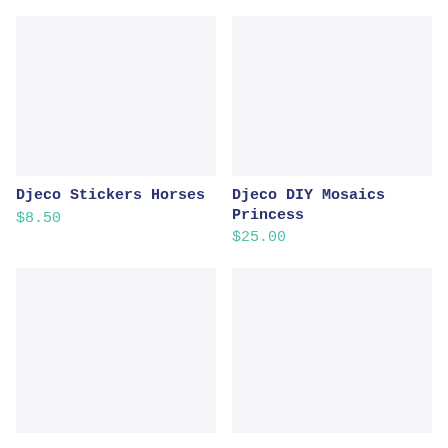[Figure (photo): Product image placeholder - light grayish-blue background, top left]
[Figure (photo): Product image placeholder - light grayish-blue background, top right]
Djeco Stickers Horses
$8.50
Djeco DIY Mosaics Princess
$25.00
[Figure (photo): Product image placeholder - light grayish-blue background, bottom left]
[Figure (photo): Product image placeholder - light grayish-blue background, bottom right]